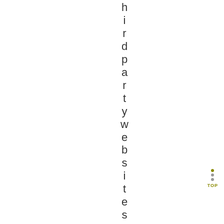hirdpartywebsites.i.e.websi
[Figure (other): Navigation widget with three colored dots (olive, gray, gray) stacked vertically and a 'TOP' label below in olive/gold color]